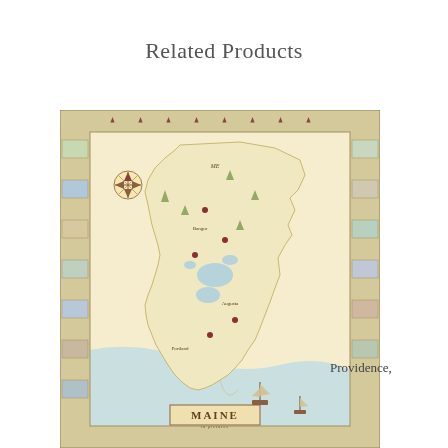Related Products
[Figure (map): Vintage illustrated pictorial map of Maine showing the state outline with decorative border featuring small vignette illustrations, a compass rose, place names, wildlife, ships, and coastal details. The word MAINE is printed at the bottom of the map.]
Providence,